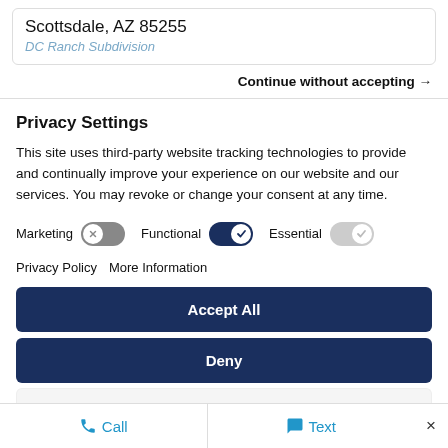Scottsdale, AZ 85255
DC Ranch Subdivision
Continue without accepting →
Privacy Settings
This site uses third-party website tracking technologies to provide and continually improve your experience on our website and our services. You may revoke or change your consent at any time.
Marketing [toggle off]   Functional [toggle on]   Essential [toggle disabled]
Privacy Policy   More Information
Accept All
Deny
Save Settings
Call   Text